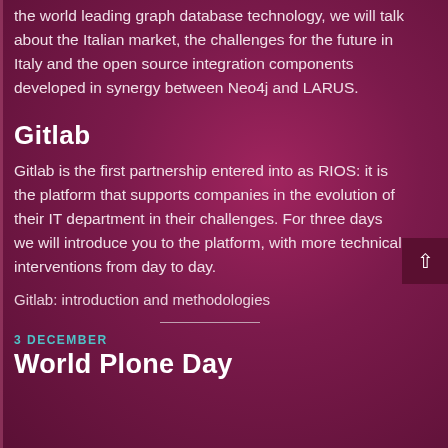the world leading graph database technology, we will talk about the Italian market, the challenges for the future in Italy and the open source integration components developed in synergy between Neo4j and LARUS.
Gitlab
Gitlab is the first partnership entered into as RIOS: it is the platform that supports companies in the evolution of their IT department in their challenges. For three days we will introduce you to the platform, with more technical interventions from day to day.
Gitlab: introduction and methodologies
3 DECEMBER
World Plone Day